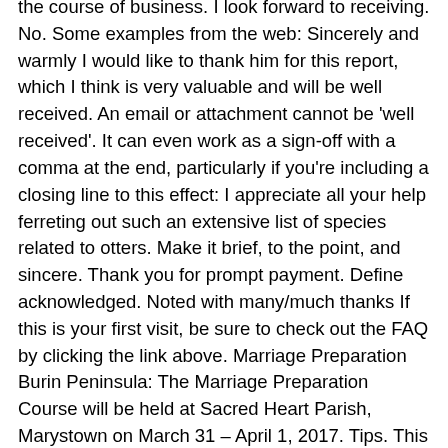the course of business. I look forward to receiving. No. Some examples from the web: Sincerely and warmly I would like to thank him for this report, which I think is very valuable and will be well received. An email or attachment cannot be 'well received'. It can even work as a sign-off with a comma at the end, particularly if you're including a closing line to this effect: I appreciate all your help ferreting out such an extensive list of species related to otters. Make it brief, to the point, and sincere. Thank you for prompt payment. Define acknowledged. Noted with many/much thanks If this is your first visit, be sure to check out the FAQ by clicking the link above. Marriage Preparation Burin Peninsula: The Marriage Preparation Course will be held at Sacred Heart Parish, Marystown on March 31 – April 1, 2017. Tips. This event is the principal means through which we raise the funds to support our many outreach programs and services. May 1, 2015. How to Write an Acknowledgement Email to Confirm Receipt of Documents It is always better to send the acknowledgement email as early as possible after